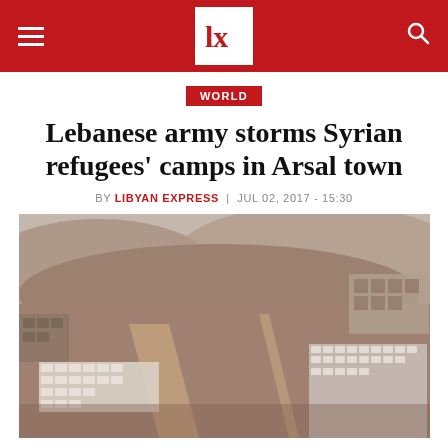Libyan Express — WORLD
Lebanese army storms Syrian refugees' camps in Arsal town
BY LIBYAN EXPRESS | JUL 02, 2017 - 15:30
[Figure (photo): Aerial view of Syrian refugee camps dotted in and around the Lebanese town of Arsal, near the border with Syria, Lebanon. September 21, 2016. (Reuters)]
Syrian refugee camps dotted in and around the Lebanese town of Arsal, near the border with Syria, Lebanon. September 21, 2016. (Reuters)